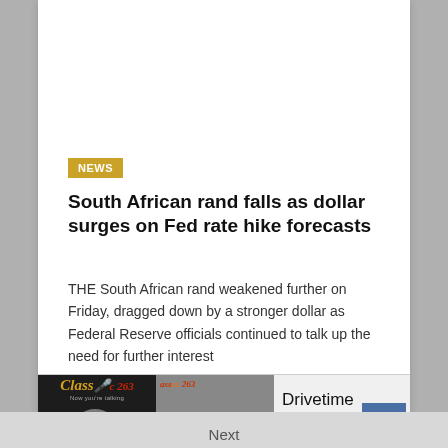NEWS
South African rand falls as dollar surges on Fed rate hike forecasts
THE South African rand weakened further on Friday, dragged down by a stronger dollar as Federal Reserve officials continued to talk up the need for further interest
[Figure (other): ClassFM 263 radio station widget showing logo and radio graphic on dark background with LISTEN LIVE button, next to a HOST panel showing Uncle Chu and Jess Matema, and show info panel for Drivetime Show Tuesday 15:00 - 18:00 with up-arrow navigation button]
Drivetime Show
Tuesday, 15:00 - 18:00
Next